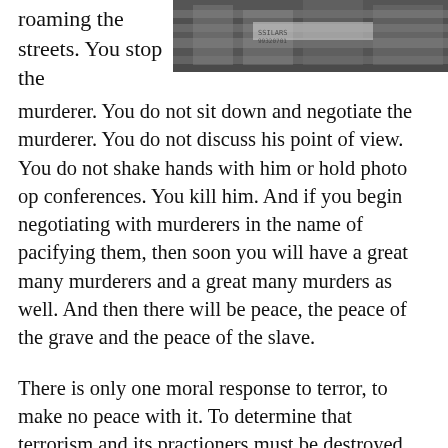[Figure (photo): Black and white photograph showing people, partially cropped at top right of page]
roaming the streets. You stop the murderer. You do not sit down and negotiate the murderer. You do not discuss his point of view. You do not shake hands with him or hold photo op conferences. You kill him. And if you begin negotiating with murderers in the name of pacifying them, then soon you will have a great many murderers and a great many murders as well. And then there will be peace, the peace of the grave and the peace of the slave.

There is only one moral response to terror, to make no peace with it. To determine that terrorism and its practioners must be destroyed. That they are to be treated as the inhuman monsters that they are. That those who shelter, arm and finance them are to share their fate. That their sympathizers and well wishers